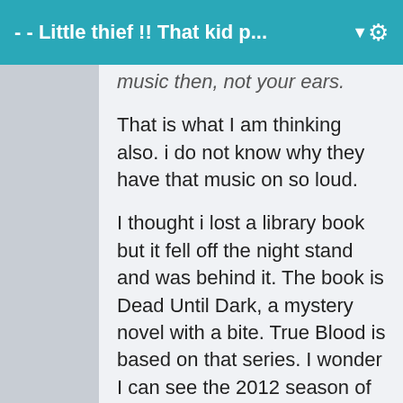- - Little thief !! That kid p... ▼
music then, not your ears.
That is what I am thinking also. i do not know why they have that music on so loud.
I thought i lost a library book but it fell off the night stand and was behind it. The book is Dead Until Dark, a mystery novel with a bite. True Blood is based on that series. I wonder I can see the 2012 season of True Blood. I also want to catch up on Dexter. i did not see the 2011 season of Dexter and there probably is a 2012 season of it I have not seen. Maybe I can catch up on that